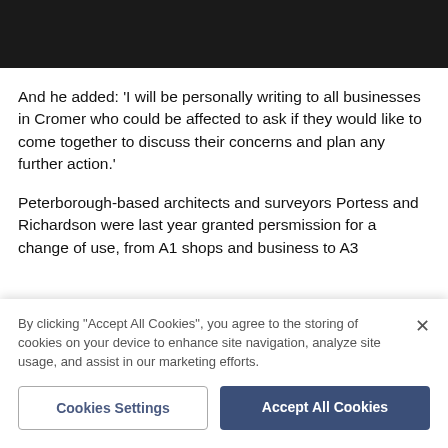[Figure (photo): Black bar / image at top of page]
And he added: 'I will be personally writing to all businesses in Cromer who could be affected to ask if they would like to come together to discuss their concerns and plan any further action.'
Peterborough-based architects and surveyors Portess and Richardson were last year granted persmission for a change of use, from A1 shops and business to A3
By clicking "Accept All Cookies", you agree to the storing of cookies on your device to enhance site navigation, analyze site usage, and assist in our marketing efforts.
Cookies Settings
Accept All Cookies